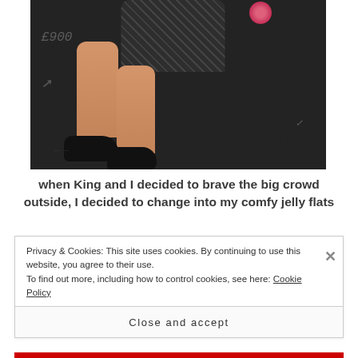[Figure (photo): Photo of person from waist down wearing a floral/patterned mini dress and black flat shoes, standing on a dark asphalt surface with chalk markings visible.]
when King and I decided to brave the big crowd outside, I decided to change into my comfy jelly flats
Privacy & Cookies: This site uses cookies. By continuing to use this website, you agree to their use.
To find out more, including how to control cookies, see here: Cookie Policy
Close and accept